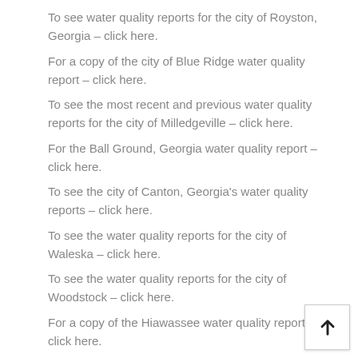To see water quality reports for the city of Royston, Georgia – click here.
For a copy of the city of Blue Ridge water quality report – click here.
To see the most recent and previous water quality reports for the city of Milledgeville – click here.
For the Ball Ground, Georgia water quality report – click here.
To see the city of Canton, Georgia's water quality reports – click here.
To see the water quality reports for the city of Waleska – click here.
To see the water quality reports for the city of Woodstock – click here.
For a copy of the Hiawassee water quality report – click here.
To see one of the water quality reports for Young Harris – click here.